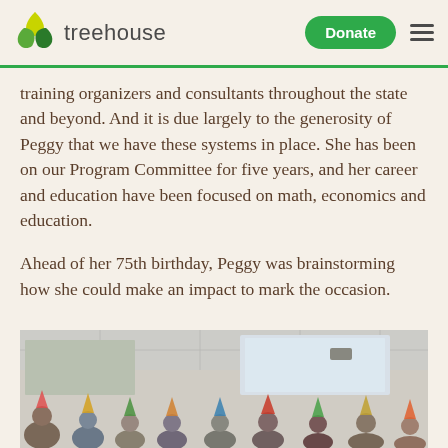treehouse | Donate
training organizers and consultants throughout the state and beyond. And it is due largely to the generosity of Peggy that we have these systems in place. She has been on our Program Committee for five years, and her career and education have been focused on math, economics and education.
Ahead of her 75th birthday, Peggy was brainstorming how she could make an impact to mark the occasion.
[Figure (photo): Group of people wearing party hats gathered in a room, celebrating a birthday event.]